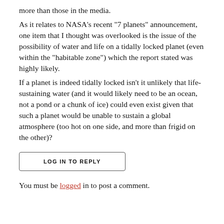more than those in the media.
As it relates to NASA's recent "7 planets" announcement, one item that I thought was overlooked is the issue of the possibility of water and life on a tidally locked planet (even within the "habitable zone") which the report stated was highly likely.
If a planet is indeed tidally locked isn't it unlikely that life-sustaining water (and it would likely need to be an ocean, not a pond or a chunk of ice) could even exist given that such a planet would be unable to sustain a global atmosphere (too hot on one side, and more than frigid on the other)?
LOG IN TO REPLY
You must be logged in to post a comment.